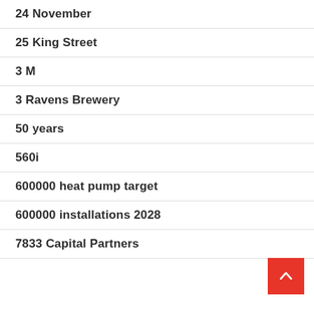24 November
25 King Street
3 M
3 Ravens Brewery
50 years
560i
600000 heat pump target
600000 installations 2028
7833 Capital Partners